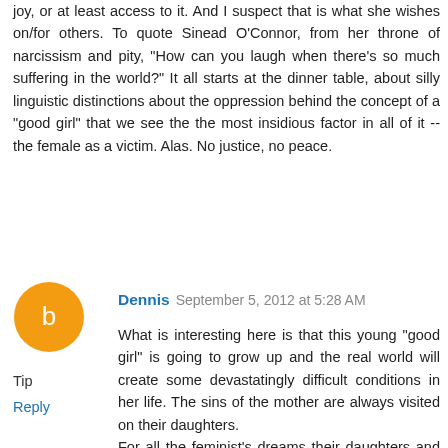joy, or at least access to it. And I suspect that is what she wishes on/for others. To quote Sinead O'Connor, from her throne of narcissism and pity, "How can you laugh when there's so much suffering in the world?" It all starts at the dinner table, about silly linguistic distinctions about the oppression behind the concept of a "good girl" that we see the the most insidious factor in all of it -- the female as a victim. Alas. No justice, no peace.
Tip
Reply
Dennis  September 5, 2012 at 5:28 AM
What is interesting here is that this young "good girl" is going to grow up and the real world will create some devastatingly difficult conditions in her life. The sins of the mother are always visited on their daughters.
For all the feminist's dreams their daughters and other women are some of the most unhappy women this country has produced. Why else are they still victims of this supposed bad country? This seems strange given all of the